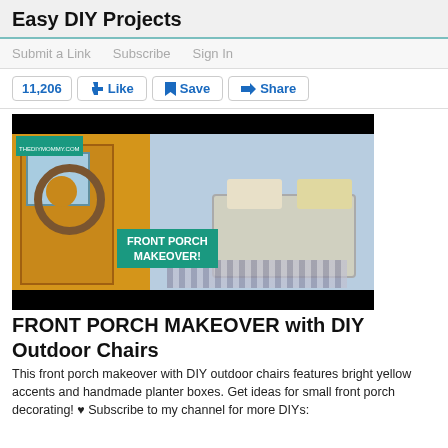Easy DIY Projects
Submit a Link   Subscribe   Sign In
11,206  👍 Like   🔖 Save   ➤ Share
[Figure (photo): Video thumbnail showing a front porch makeover with DIY outdoor chairs. Left side shows a yellow door with a grapevine wreath decorated with lemons, right side shows white outdoor seating with patterned cushions. Center overlay text reads FRONT PORCH MAKEOVER! in white on teal background. Top-left label reads THEDIYMOMMY.COM.]
FRONT PORCH MAKEOVER with DIY Outdoor Chairs
This front porch makeover with DIY outdoor chairs features bright yellow accents and handmade planter boxes. Get ideas for small front porch decorating! ♥ Subscribe to my channel for more DIYs: